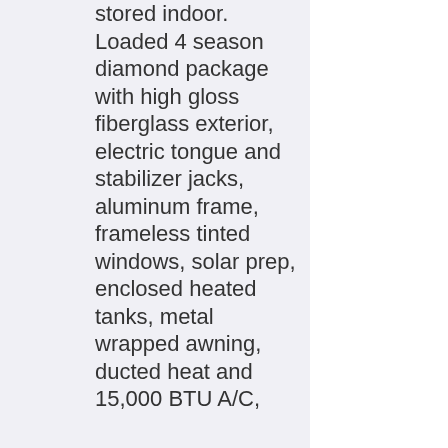stored indoor. Loaded 4 season diamond package with high gloss fiberglass exterior, electric tongue and stabilizer jacks, aluminum frame, frameless tinted windows, solar prep, enclosed heated tanks, metal wrapped awning, ducted heat and 15,000 BTU A/C,